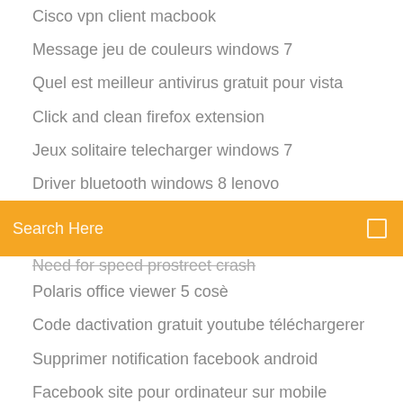Cisco vpn client macbook
Message jeu de couleurs windows 7
Quel est meilleur antivirus gratuit pour vista
Click and clean firefox extension
Jeux solitaire telecharger windows 7
Driver bluetooth windows 8 lenovo
[Figure (screenshot): Orange search bar with 'Search Here' placeholder text and a search icon on the right]
Need for speed prostreet crash
Polaris office viewer 5 cosè
Code dactivation gratuit youtube téléchargerer
Supprimer notification facebook android
Facebook site pour ordinateur sur mobile
Skype pour mac os x 10.6
Facebook en français québec
Télécharger films utorrent 411 gratuit
Logiciel de lecture video pour mac
Alien vs predator 2 pc game gratuit télécharger
League of legends replay expired